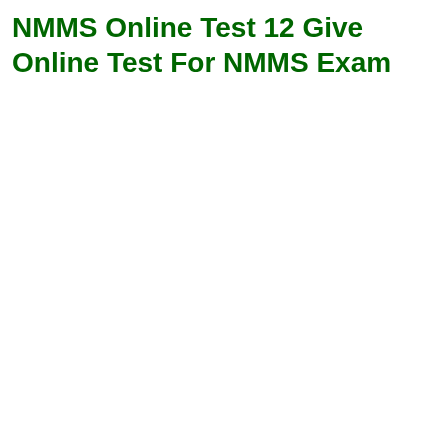NMMS Online Test 12 Give Online Test For NMMS Exam